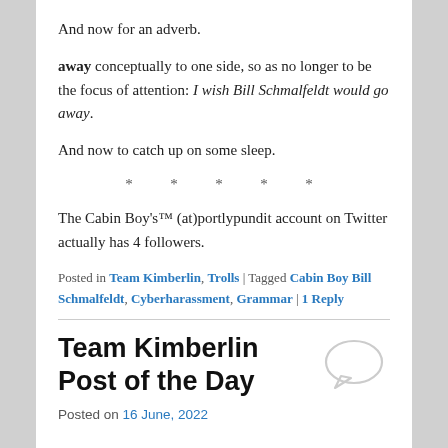And now for an adverb.
away conceptually to one side, so as no longer to be the focus of attention: I wish Bill Schmalfeldt would go away.
And now to catch up on some sleep.
* * * * *
The Cabin Boy's™ (at)portlypundit account on Twitter actually has 4 followers.
Posted in Team Kimberlin, Trolls | Tagged Cabin Boy Bill Schmalfeldt, Cyberharassment, Grammar | 1 Reply
Team Kimberlin Post of the Day
Posted on 16 June, 2022